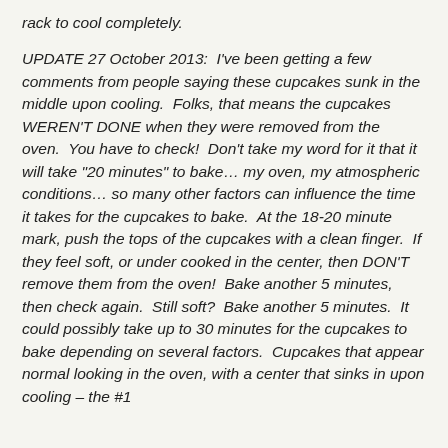rack to cool completely.
UPDATE 27 October 2013:  I've been getting a few comments from people saying these cupcakes sunk in the middle upon cooling.  Folks, that means the cupcakes WEREN'T DONE when they were removed from the oven.  You have to check!  Don't take my word for it that it will take "20 minutes" to bake… my oven, my atmospheric conditions… so many other factors can influence the time it takes for the cupcakes to bake.  At the 18-20 minute mark, push the tops of the cupcakes with a clean finger.  If they feel soft, or under cooked in the center, then DON'T remove them from the oven!  Bake another 5 minutes, then check again.  Still soft?  Bake another 5 minutes.  It could possibly take up to 30 minutes for the cupcakes to bake depending on several factors.  Cupcakes that appear normal looking in the oven, with a center that sinks in upon cooling – the #1